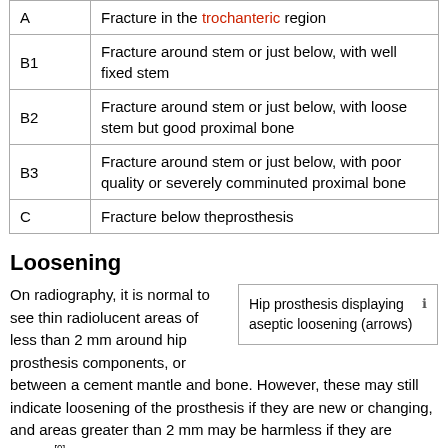|  |  |
| --- | --- |
| A | Fracture in the trochanteric region |
| B1 | Fracture around stem or just below, with well fixed stem |
| B2 | Fracture around stem or just below, with loose stem but good proximal bone |
| B3 | Fracture around stem or just below, with poor quality or severely comminuted proximal bone |
| C | Fracture below theprosthesis |
Loosening
[Figure (other): Hip prosthesis displaying aseptic loosening (arrows)]
Hip prosthesis displaying aseptic loosening (arrows)
On radiography, it is normal to see thin radiolucent areas of less than 2 mm around hip prosthesis components, or between a cement mantle and bone. However, these may still indicate loosening of the prosthesis if they are new or changing, and areas greater than 2 mm may be harmless if they are stable.[9] The most important prognostic factors of cemented cups are absence of radiolucent lines in